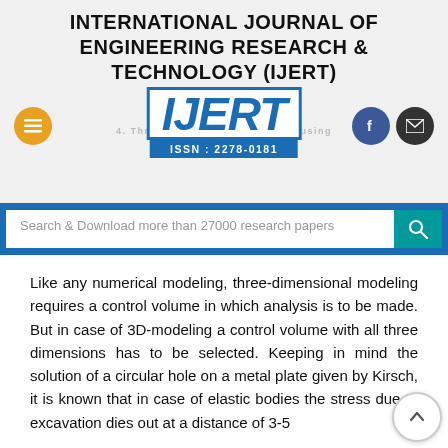INTERNATIONAL JOURNAL OF ENGINEERING RESEARCH & TECHNOLOGY (IJERT)
[Figure (logo): IJERT logo with ISSN: 2278-0181, surrounded by menu button, Facebook icon, and email icon. Background shows faint watermark text about tunnel support and 3D modelling.]
Search & Download more than 27000 research papers
Like any numerical modeling, three-dimensional modeling requires a control volume in which analysis is to be made. But in case of 3D-modeling a control volume with all three dimensions has to be selected. Keeping in mind the solution of a circular hole on a metal plate given by Kirsch, it is known that in case of elastic bodies the stress due to excavation dies out at a distance of 3-5